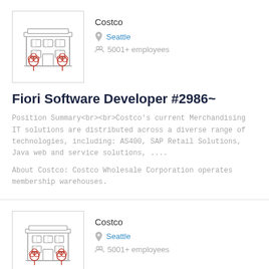[Figure (illustration): Building/company icon with two red trees in front, gray outline style]
Costco
Seattle
5001+ employees
Fiori Software Developer #2986~
Position Summary<br><br>Costco's current Merchandising IT solutions are distributed across a diverse range of technologies, including: AS400, SAP Retail Solutions, Java web and service solutions, ....
About Costco: Costco Wholesale Corporation operates membership warehouses.
[Figure (illustration): Building/company icon with two red trees in front, gray outline style]
Costco
Seattle
5001+ employees